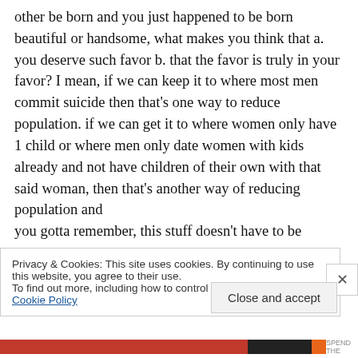other be born and you just happened to be born beautiful or handsome, what makes you think that a. you deserve such favor b. that the favor is truly in your favor? I mean, if we can keep it to where most men commit suicide then that's one way to reduce population. if we can get it to where women only have 1 child or where men only date women with kids already and not have children of their own with that said woman, then that's another way of reducing population and you gotta remember, this stuff doesn't have to be
Privacy & Cookies: This site uses cookies. By continuing to use this website, you agree to their use.
To find out more, including how to control cookies, see here: Cookie Policy
Close and accept